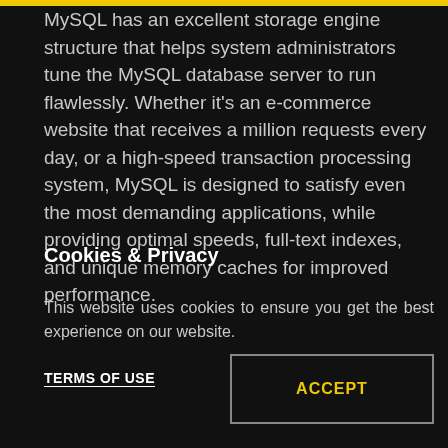MySQL has an excellent storage engine structure that helps system administrators tune the MySQL database server to run flawlessly. Whether it's an e-commerce website that receives a million requests every day, or a high-speed transaction processing system, MySQL is designed to satisfy even the most demanding applications, while providing optimal speeds, full-text indexes, and unique memory caches for improved performance.
Cookies & Privacy
This website uses cookies to ensure you get the best experience on our website.
TERMS OF USE
ACCEPT